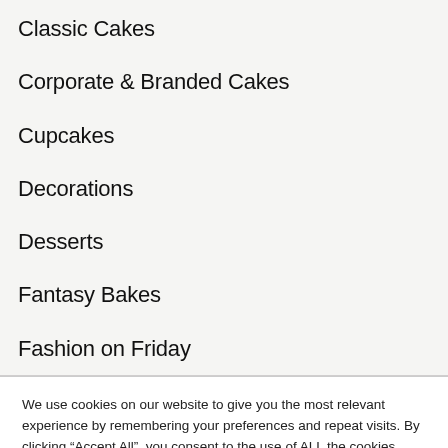Classic Cakes
Corporate & Branded Cakes
Cupcakes
Decorations
Desserts
Fantasy Bakes
Fashion on Friday
We use cookies on our website to give you the most relevant experience by remembering your preferences and repeat visits. By clicking “Accept All”, you consent to the use of ALL the cookies.
Cookie Settings | Accept All